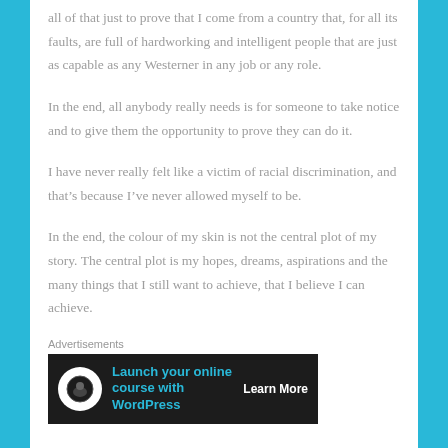all of that just to prove that I come from a country that, for all its faults, are full of hardworking and intelligent people that are just as capable as any Westerner in any job or any role.
In the end, all anybody really needs is for someone to take notice and to give them the opportunity to prove they can do it.
I have never really felt like a victim of racial discrimination, and that’s because I’ve never allowed myself to be.
In the end, the colour of my skin is not the central plot of my story. The central plot is my hopes, dreams, aspirations and the many things that I still want to achieve, that I believe I can achieve.
Advertisements
[Figure (other): Advertisement banner: Launch your online course with WordPress. Dark background with teal text and Learn More button.]